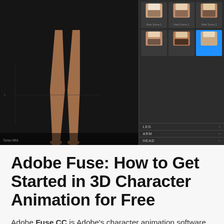[Figure (screenshot): Adobe Fuse CC 3D character animation software interface showing a dark workspace with a 3D character's legs visible on the left panel and a thumbnail/asset panel on the right showing various torso/body part options with labels LEG, ARM, HEAD]
Adobe Fuse: How to Get Started in 3D Character Animation for Free
Adobe Fuse CC is Adobe's character animation software that outputs 3D models into Photoshop. It's intuitive and it's fun.
[Read more...]